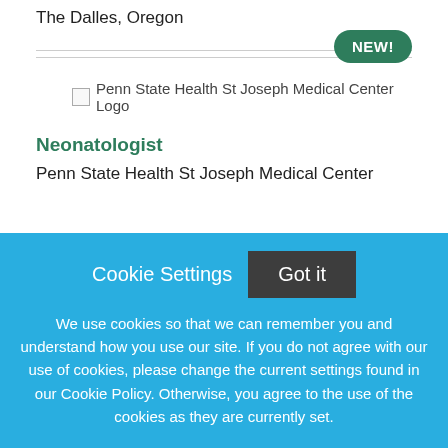The Dalles, Oregon
[Figure (logo): Penn State Health St Joseph Medical Center Logo]
Neonatologist
Penn State Health St Joseph Medical Center
Cookie Settings  Got it

We use cookies so that we can remember you and understand how you use our site. If you do not agree with our use of cookies, please change the current settings found in our Cookie Policy. Otherwise, you agree to the use of the cookies as they are currently set.